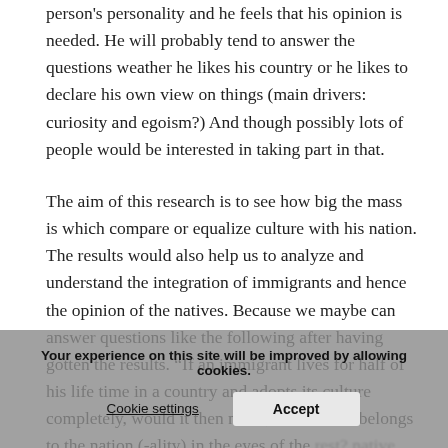person's personality and he feels that his opinion is needed. He will probably tend to answer the questions weather he likes his country or he likes to declare his own view on things (main drivers: curiosity and egoism?) And though possibly lots of people would be interested in taking part in that.
The aim of this research is to see how big the mass is which compare or equalize culture with his nation. The results would also help us to analyze and understand the integration of immigrants and hence the opinion of the natives. Because we maybe can answer questions like the following after having gotten the results. “If an immigrant lives for half of his life time in a country and adopts its culture completely, would it then mean, that he also belongs to the nation (-ality) in the eyes of the rest? native population. There information from 30 countries of Europe could be used to compare the countries and their understanding of culture, nation and nationality/immigrants which gave us at least a
Your experience on this site will be improved by allowing cookies.